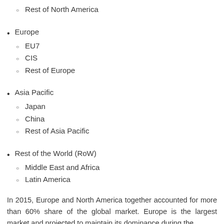Rest of North America
Europe
EU7
CIS
Rest of Europe
Asia Pacific
Japan
China
Rest of Asia Pacific
Rest of the World (RoW)
Middle East and Africa
Latin America
In 2015, Europe and North America together accounted for more than 60% share of the global market. Europe is the largest market and projected to maintain its dominance during the